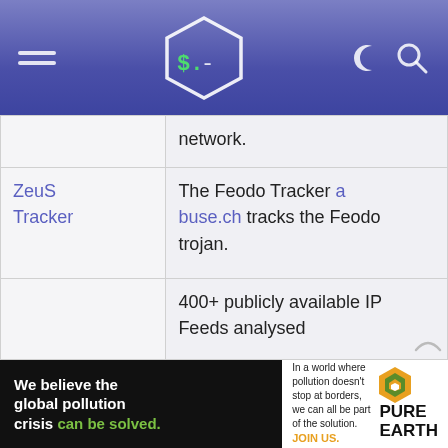Shell scripting / terminal blog header with hamburger menu, hex logo with $. symbol, moon and search icons
|  |  |
| --- | --- |
|  | network. |
| ZeuS Tracker | The Feodo Tracker abuse.ch tracks the Feodo trojan. |
|  | 400+ publicly available IP Feeds analysed |
[Figure (infographic): Pure Earth advertisement banner: black left section with text 'We believe the global pollution crisis can be solved.' in white and green, right section with Pure Earth logo and small descriptive text about pollution with JOIN US. call to action in gold.]